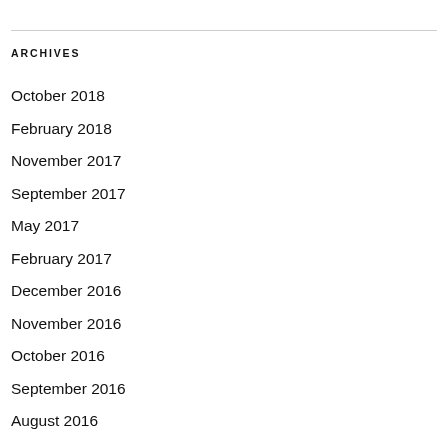ARCHIVES
October 2018
February 2018
November 2017
September 2017
May 2017
February 2017
December 2016
November 2016
October 2016
September 2016
August 2016
June 2016
April 2016
March 2016